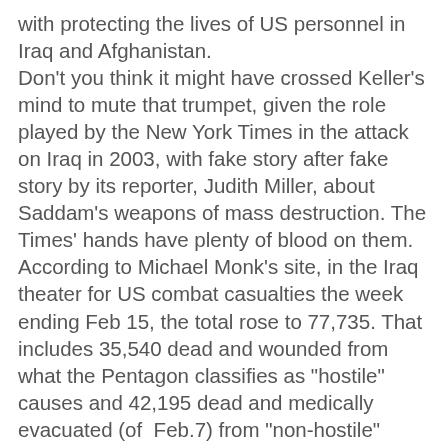with protecting the lives of US personnel in Iraq and Afghanistan. Don't you think it might have crossed Keller's mind to mute that trumpet, given the role played by the New York Times in the attack on Iraq in 2003, with fake story after fake story by its reporter, Judith Miller, about Saddam's weapons of mass destruction. The Times' hands have plenty of blood on them. According to Michael Monk's site, in the Iraq theater for US combat casualties the week ending Feb 15, the total rose to 77,735. That includes 35,540 dead and wounded from what the Pentagon classifies as "hostile" causes and 42,195 dead and medically evacuated (of Feb.7) from "non-hostile" causes. As Secretary of State Clinton launched her rodomontade about the US role in “peaceful” democratic transition in Egypt and about internet “freedom,” at her speech at George Washington University on Feb. 16 condemning governments that arrest protestors and do not allow free expression, her security goons openly assaulted